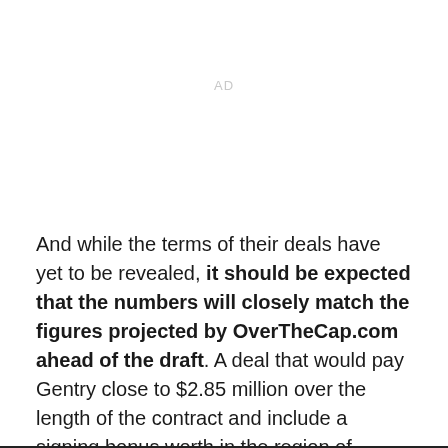AD
And while the terms of their deals have yet to be revealed, it should be expected that the numbers will closely match the figures projected by OverTheCap.com ahead of the draft. A deal that would pay Gentry close to $2.85 million over the length of the contract and include a signing bonus worth in the region of $340,000.